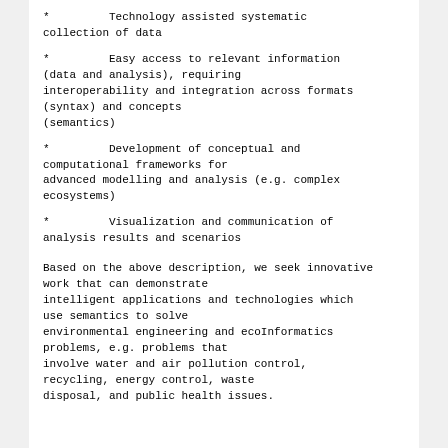*         Technology assisted systematic collection of data
*         Easy access to relevant information (data and analysis), requiring interoperability and integration across formats (syntax) and concepts (semantics)
*         Development of conceptual and computational frameworks for advanced modelling and analysis (e.g. complex ecosystems)
*         Visualization and communication of analysis results and scenarios
Based on the above description, we seek innovative work that can demonstrate intelligent applications and technologies which use semantics to solve environmental engineering and ecoInformatics problems, e.g. problems that involve water and air pollution control, recycling, energy control, waste disposal, and public health issues.